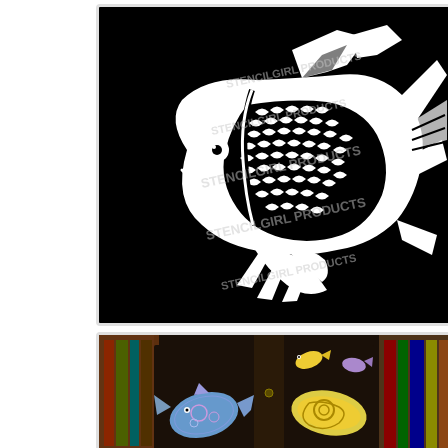[Figure (illustration): White tribal/decorative fish illustration on black background with StencilGirl Products watermark overlay. Fish has detailed scale patterns, flowing fins and tail.]
[Figure (photo): Photo of a dark fabric bag/tote with colorful fish and shell stencil designs applied: a blue-purple fish on the left, a yellow shell in the center, and a small yellow fish on the right. Bookshelves visible in the background.]